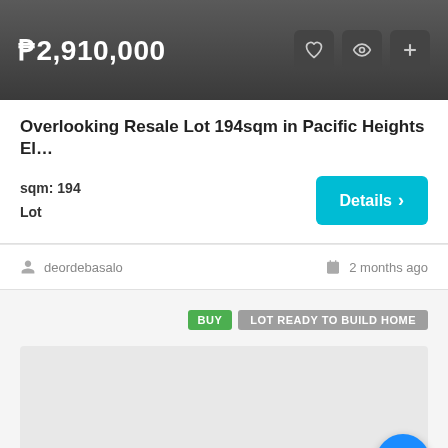₱2,910,000
Overlooking Resale Lot 194sqm in Pacific Heights El…
sqm: 194
Lot
Details >
deordebasalo
2 months ago
BUY
LOT READY TO BUILD HOME